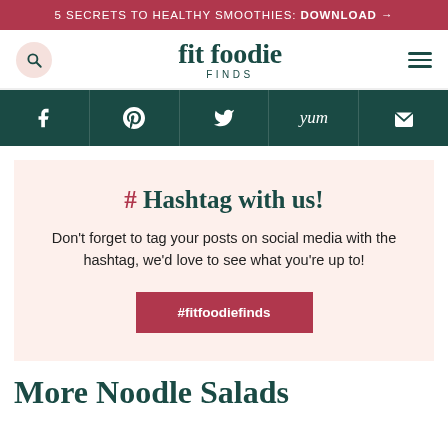5 SECRETS TO HEALTHY SMOOTHIES: DOWNLOAD →
[Figure (logo): Fit Foodie Finds logo with search icon and hamburger menu]
[Figure (infographic): Social media navigation bar with Facebook, Pinterest, Twitter, Yummly, and email icons on dark teal background]
# Hashtag with us!
Don't forget to tag your posts on social media with the hashtag, we'd love to see what you're up to!
#fitfoodiefinds
More Noodle Salads